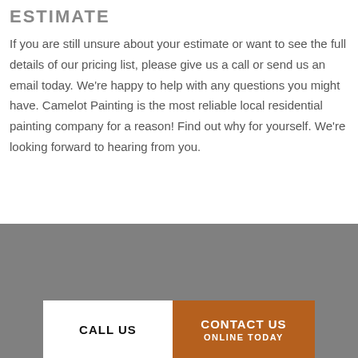ESTIMATE
If you are still unsure about your estimate or want to see the full details of our pricing list, please give us a call or send us an email today. We’re happy to help with any questions you might have. Camelot Painting is the most reliable local residential painting company for a reason! Find out why for yourself. We’re looking forward to hearing from you.
CALL US | CONTACT US ONLINE TODAY